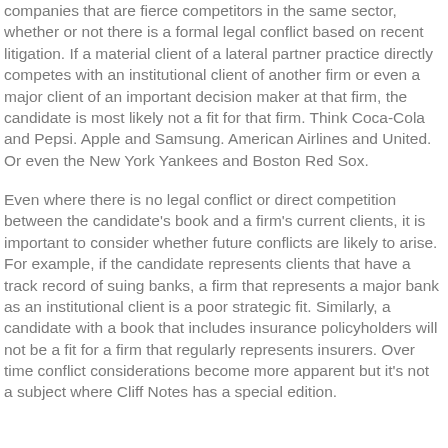companies that are fierce competitors in the same sector, whether or not there is a formal legal conflict based on recent litigation. If a material client of a lateral partner practice directly competes with an institutional client of another firm or even a major client of an important decision maker at that firm, the candidate is most likely not a fit for that firm. Think Coca-Cola and Pepsi. Apple and Samsung. American Airlines and United. Or even the New York Yankees and Boston Red Sox.
Even where there is no legal conflict or direct competition between the candidate's book and a firm's current clients, it is important to consider whether future conflicts are likely to arise. For example, if the candidate represents clients that have a track record of suing banks, a firm that represents a major bank as an institutional client is a poor strategic fit. Similarly, a candidate with a book that includes insurance policyholders will not be a fit for a firm that regularly represents insurers. Over time conflict considerations become more apparent but it's not a subject where Cliff Notes has a special edition.